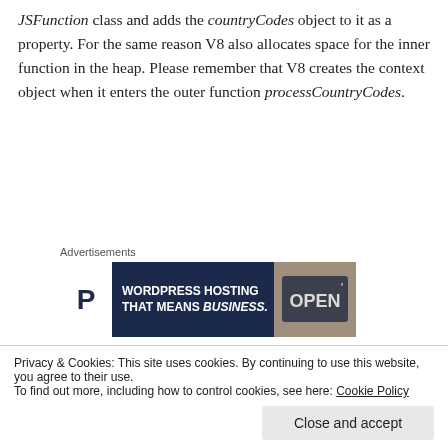JSFunction class and adds the countryCodes object to it as a property. For the same reason V8 also allocates space for the inner function in the heap. Please remember that V8 creates the context object when it enters the outer function processCountryCodes.
[Figure (other): Advertisement banner: Pressable WordPress Hosting That Means Business, with OPEN sign image on right]
3. Before the function processCountryCodes returns the object graph looks like in the figure
Privacy & Cookies: This site uses cookies. By continuing to use this website, you agree to their use.
To find out more, including how to control cookies, see here: Cookie Policy